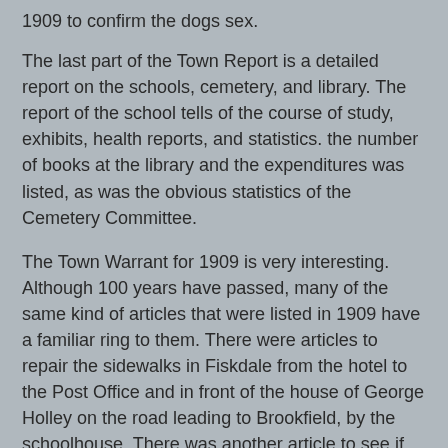1909 to confirm the dogs sex.
The last part of the Town Report is a detailed report on the schools, cemetery, and library. The report of the school tells of the course of study, exhibits, health reports, and statistics. the number of books at the library and the expenditures was listed, as was the obvious statistics of the Cemetery Committee.
The Town Warrant for 1909 is very interesting. Although 100 years have passed, many of the same kind of articles that were listed in 1909 have a familiar ring to them. There were articles to repair the sidewalks in Fiskdale from the hotel to the Post Office and in front of the house of George Holley on the road leading to Brookfield, by the schoolhouse. There was another article to see if the town would provide some way to carry off the surface water on the highway in front of the house of E.D. Brown. An article to widen the arch bridge in Sturbridge Center, and another to replace the wooden manhole grates with ones made of iron.
Article 26 was placed to see if the town would authorize the